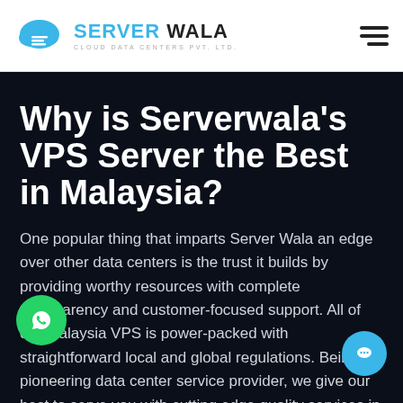SERVER WALA CLOUD DATA CENTERS PVT. LTD.
Why is Serverwala's VPS Server the Best in Malaysia?
One popular thing that imparts Server Wala an edge over other data centers is the trust it builds by providing worthy resources with complete transparency and customer-focused support. All of our Malaysia VPS is power-packed with straightforward local and global regulations. Being a pioneering data center service provider, we give our best to serve you with cutting edge quality services in terms of performance and scalability.